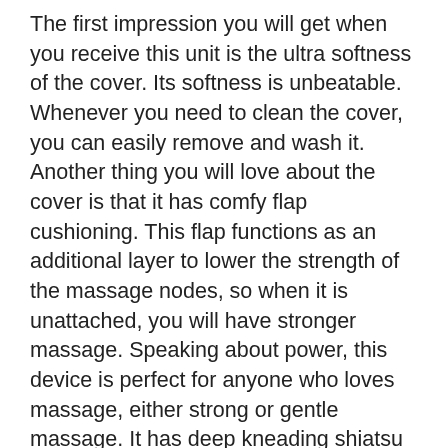The first impression you will get when you receive this unit is the ultra softness of the cover. Its softness is unbeatable. Whenever you need to clean the cover, you can easily remove and wash it. Another thing you will love about the cover is that it has comfy flap cushioning. This flap functions as an additional layer to lower the strength of the massage nodes, so when it is unattached, you will have stronger massage. Speaking about power, this device is perfect for anyone who loves massage, either strong or gentle massage. It has deep kneading shiatsu massage that you can enjoy together with vibration and heat features. The heat keeps you warm while you are experiencing heavenly massage sensation. If you want to enjoy the massage to the fullest, you can turn on the vibration mode. After a few minutes using this shiatsu pillow massager, your body will feel so fresh and you are ready continue your day. The pillow works